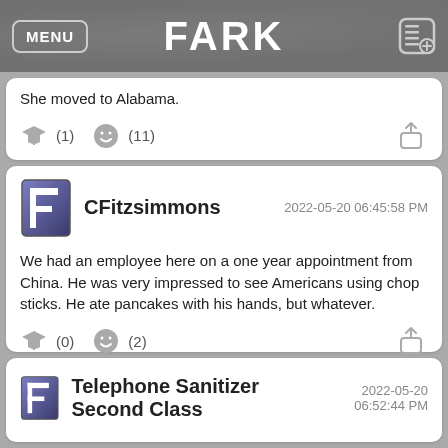FARK
She moved to Alabama.
(1)   (11)
CFitzsimmons
2022-05-20 06:45:58 PM
We had an employee here on a one year appointment from China. He was very impressed to see Americans using chop sticks. He ate pancakes with his hands, but whatever.
(0)   (2)
Telephone Sanitizer Second Class
2022-05-20 06:52:44 PM